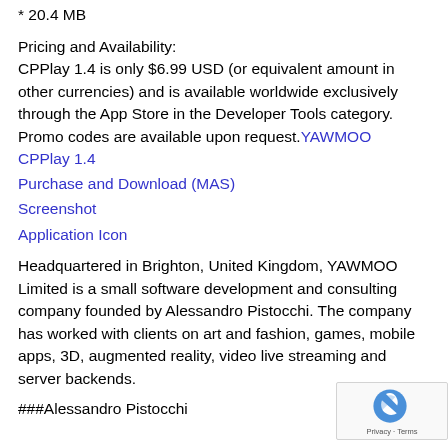* 20.4 MB
Pricing and Availability:
CPPlay 1.4 is only $6.99 USD (or equivalent amount in other currencies) and is available worldwide exclusively through the App Store in the Developer Tools category. Promo codes are available upon request. YAWMOO CPPlay 1.4
Purchase and Download (MAS)
Screenshot
Application Icon
Headquartered in Brighton, United Kingdom, YAWMOO Limited is a small software development and consulting company founded by Alessandro Pistocchi. The company has worked with clients on art and fashion, games, mobile apps, 3D, augmented reality, video live streaming and server backends.
###Alessandro Pistocchi